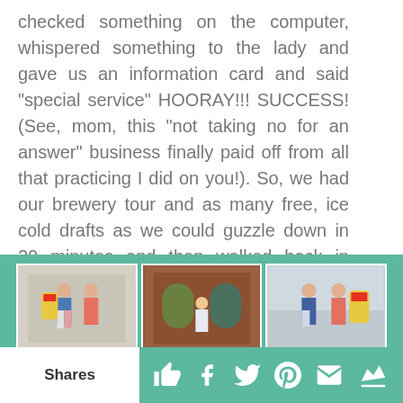checked something on the computer, whispered something to the lady and gave us an information card and said "special service" HOORAY!!! SUCCESS! (See, mom, this "not taking no for an answer" business finally paid off from all that practicing I did on you!). So, we had our brewery tour and as many free, ice cold drafts as we could guzzle down in 20 minutes and then walked back in rather a good mood to the train station.
[Figure (photo): Three photos side by side: left shows two people posing near a large beer can display, center shows a person in front of a brick building with stained glass windows, right shows two people posing with a large beer can]
[Figure (photo): Partial photo showing the number 1889 on a building sign with trees in the background]
Shares